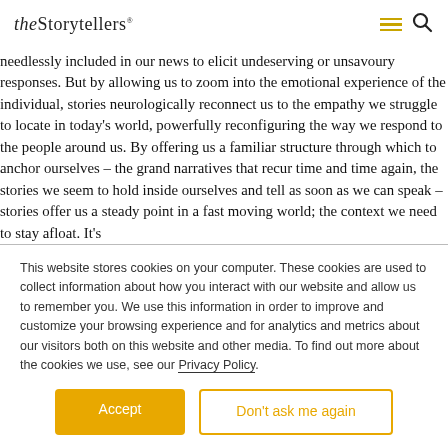theStorytellers
needlessly included in our news to elicit undeserving or unsavoury responses. But by allowing us to zoom into the emotional experience of the individual, stories neurologically reconnect us to the empathy we struggle to locate in today’s world, powerfully reconfiguring the way we respond to the people around us. By offering us a familiar structure through which to anchor ourselves – the grand narratives that recur time and time again, the stories we seem to hold inside ourselves and tell as soon as we can speak – stories offer us a steady point in a fast moving world; the context we need to stay afloat. It’s
This website stores cookies on your computer. These cookies are used to collect information about how you interact with our website and allow us to remember you. We use this information in order to improve and customize your browsing experience and for analytics and metrics about our visitors both on this website and other media. To find out more about the cookies we use, see our Privacy Policy.